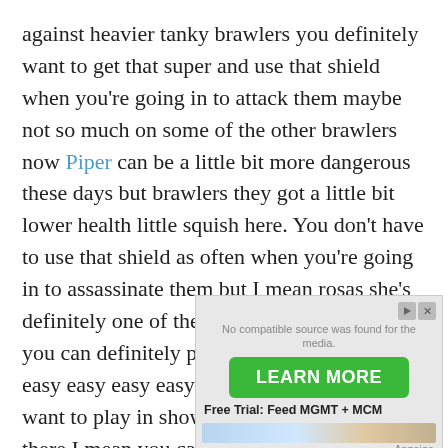against heavier tanky brawlers you definitely want to get that super and use that shield when you're going in to attack them maybe not so much on some of the other brawlers now Piper can be a little bit more dangerous these days but brawlers they got a little bit lower health little squish here. You don't have to use that shield as often when you're going in to assassinate them but I mean rosas she's definitely one of the brawler's that you know you can definitely push very easy with very easy easy easy easy brawler to learn if you want to play in showdown and grind her out there I mean you can push her all the way probably in the 700s
[Figure (other): Advertisement overlay showing 'No compatible source was found for the media.' message with a green LEARN MORE button and 'Free Trial: Feed MGMT + MCM' label, plus Anzeige tag and close/play buttons.]